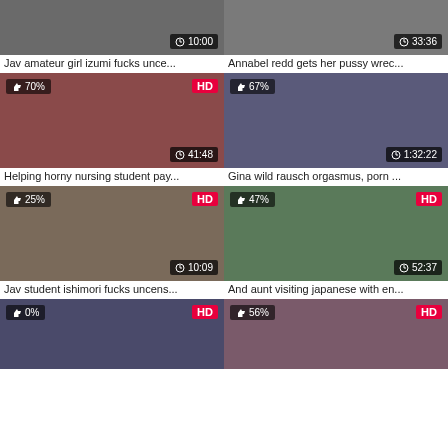[Figure (screenshot): Video thumbnail grid showing adult video titles with thumbnails, duration badges, HD badges, and like percentages]
Jav amateur girl izumi fucks unce...
Annabel redd gets her pussy wrec...
Helping horny nursing student pay...
Gina wild rausch orgasmus, porn ...
Jav student ishimori fucks uncens...
And aunt visiting japanese with en...